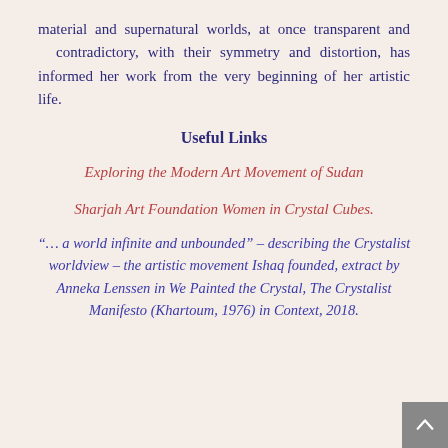material and supernatural worlds, at once transparent and contradictory, with their symmetry and distortion, has informed her work from the very beginning of her artistic life.
Useful Links
Exploring the Modern Art Movement of Sudan
Sharjah Art Foundation Women in Crystal Cubes.
“… a world infinite and unbounded” – describing the Crystalist worldview – the artistic movement Ishaq founded, extract by Anneka Lenssen in We Painted the Crystal, The Crystalist Manifesto (Khartoum, 1976) in Context, 2018.